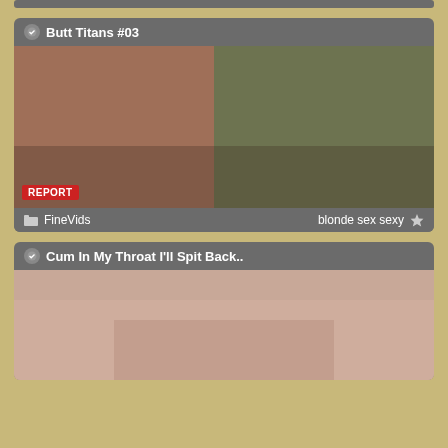Butt Titans #03
[Figure (photo): Thumbnail image for Butt Titans #03 video with REPORT overlay badge]
FineVids   blonde sex sexy
Cum In My Throat I'll Spit Back..
[Figure (photo): Thumbnail image for Cum In My Throat I'll Spit Back.. video]